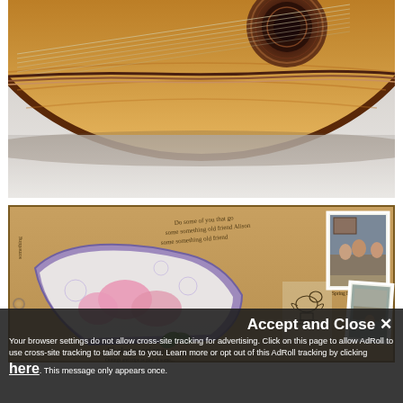[Figure (photo): Close-up photograph of a lute musical instrument body, showing the wooden top with decorative rosette sound hole, strings, and curved edges against a light grey-white background.]
[Figure (photo): Photograph of an open scrapbook page showing a decorative paper fan with lace and pink floral design, handwritten text, a small sketch of a bird on a pedestal, Polaroid-style photos of people in a living room, and text reading 'Shakespeariana'. Page is numbered 53.]
Accept and Close ✕
Your browser settings do not allow cross-site tracking for advertising. Click on this page to allow AdRoll to use cross-site tracking to tailor ads to you. Learn more or opt out of this AdRoll tracking by clicking here. This message only appears once.